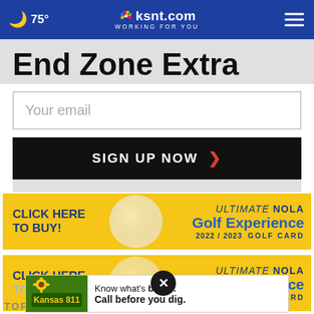75° | ksnt.com WORKING FOR YOU
End Zone Extra
Your email
SIGN UP NOW
[Figure (screenshot): ULTIMATE NOLA Golf Experience 2022/2023 GOLF CARD advertisement banner - yellow background with golf ball graphic, 'CLICK HERE TO BUY!' text on left]
[Figure (screenshot): Second ULTIMATE NOLA Golf Experience 2022/2023 GOLF CARD advertisement banner - partially visible with close (x) button overlay]
[Figure (screenshot): Kansas 811 advertisement - 'Know what's below. Call before you dig.']
TOP STORIES ›